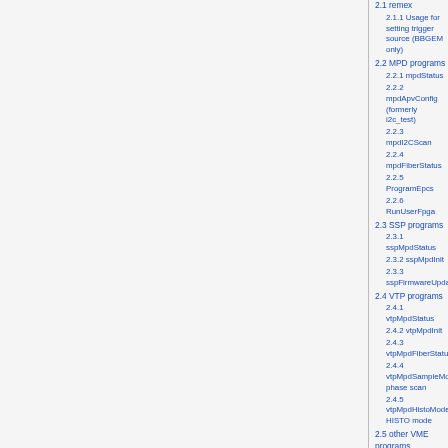2.1 remex
2.1.1 Usage for setting trigger source (BBGEM only)
2.2 MPD programs
2.2.1 mpdStatus
2.2.2 mpdApvConfig (formerly i2c_test)
2.2.3 mpdI2CScan
2.2.4 mpdFiberStatus
2.2.5 ProgramEpcs
2.2.6 RunUserFpga
2.3 SSP programs
2.3.1 sspMpdStatus
2.3.2 sspMpdInit
2.3.3 sspFirmwareUpdate
2.4 VTP programs
2.4.1 vtpMpdStatus
2.4.2 vtpMpdInit
2.4.3 vtpMpdFiberStatus
2.4.4 vtpMpdSampleMode phase scan
2.4.5 vtpMpdHistoMode HISTO mode
2.5 other VME programs